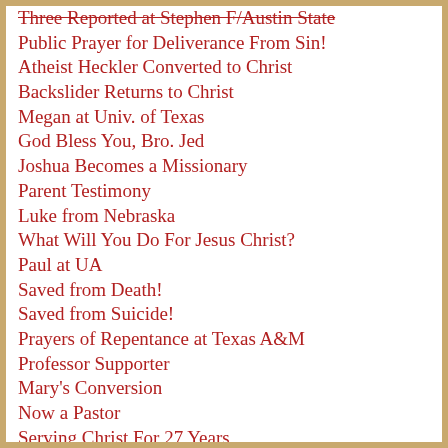Three Reported at Stephen F/Austin State
Public Prayer for Deliverance From Sin!
Atheist Heckler Converted to Christ
Backslider Returns to Christ
Megan at Univ. of Texas
God Bless You, Bro. Jed
Joshua Becomes a Missionary
Parent Testimony
Luke from Nebraska
What Will You Do For Jesus Christ?
Paul at UA
Saved from Death!
Saved from Suicide!
Prayers of Repentance at Texas A&M
Professor Supporter
Mary's Conversion
Now a Pastor
Serving Christ For 27 Years
Heckler Blowing Smoke
Fruit that Remained!
Atheist Changes His Mind